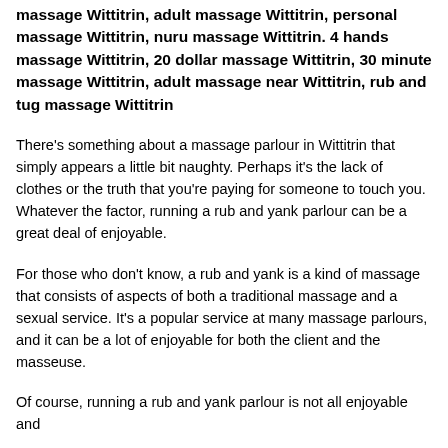massage Wittitrin, adult massage Wittitrin, personal massage Wittitrin, nuru massage Wittitrin. 4 hands massage Wittitrin, 20 dollar massage Wittitrin, 30 minute massage Wittitrin, adult massage near Wittitrin, rub and tug massage Wittitrin
There's something about a massage parlour in Wittitrin that simply appears a little bit naughty. Perhaps it's the lack of clothes or the truth that you're paying for someone to touch you. Whatever the factor, running a rub and yank parlour can be a great deal of enjoyable.
For those who don't know, a rub and yank is a kind of massage that consists of aspects of both a traditional massage and a sexual service. It's a popular service at many massage parlours, and it can be a lot of enjoyable for both the client and the masseuse.
Of course, running a rub and yank parlour is not all enjoyable and